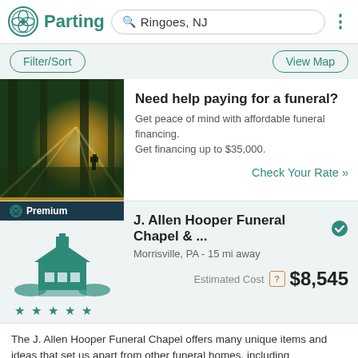Parting — Ringoes, NJ search results
Filter/Sort | View Map
[Figure (photo): Photo of sunlight streaming through trees at golden hour]
Need help paying for a funeral?
Get peace of mind with affordable funeral financing. Get financing up to $35,000.
Check Your Rate »
Premium
[Figure (illustration): Illustrated icon of a funeral home building with stars rating]
J. Allen Hooper Funeral Chapel & ...
Morrisville, PA - 15 mi away
Estimated Cost $8,545
The J. Allen Hooper Funeral Chapel offers many unique items and ideas that set us apart from other funeral homes, including customized register books, DVD presentations of family photos, and the ability to vide... read more »
Premium
All Faiths Cremation Service